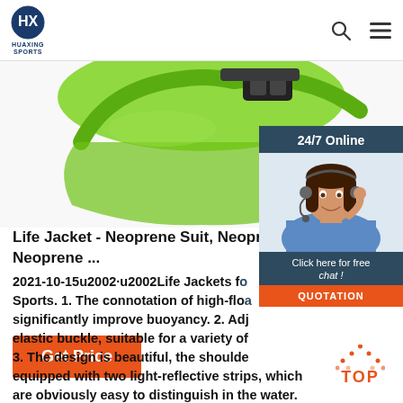HUAXING SPORTS
[Figure (photo): Green life jacket / neoprene suit product photo showing shoulder straps and buckle against white background]
[Figure (photo): 24/7 Online chat panel with female customer service agent wearing headset, blue button background with 'Click here for free chat!' and 'QUOTATION' orange button]
Life Jacket - Neoprene Suit, Neoprene Neoprene ...
2021-10-15u2002·u2002Life Jackets for Sports. 1. The connotation of high-floating significantly improve buoyancy. 2. Adjustable elastic buckle, suitable for a variety of 3. The design is beautiful, the shoulder equipped with two light-reflective strips, which are obviously easy to distinguish in the water.
Get Price
TOP